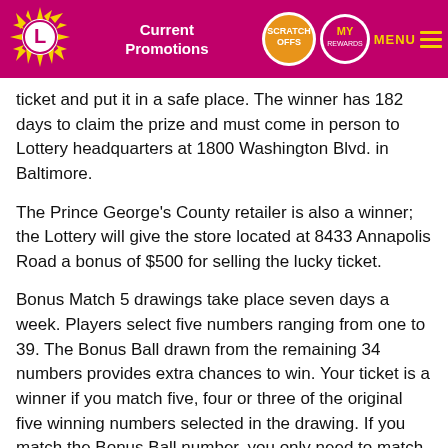Current Promotions | SCRATCH OFFS | MY REWARDS | MENU
ticket and put it in a safe place. The winner has 182 days to claim the prize and must come in person to Lottery headquarters at 1800 Washington Blvd. in Baltimore.
The Prince George's County retailer is also a winner; the Lottery will give the store located at 8433 Annapolis Road a bonus of $500 for selling the lucky ticket.
Bonus Match 5 drawings take place seven days a week. Players select five numbers ranging from one to 39. The Bonus Ball drawn from the remaining 34 numbers provides extra chances to win. Your ticket is a winner if you match five, four or three of the original five winning numbers selected in the drawing. If you match the Bonus Ball number, you only need to match four, three or two of your original numbers to win!
Categories: Bonus Match 5, Winners Tags: Bonus